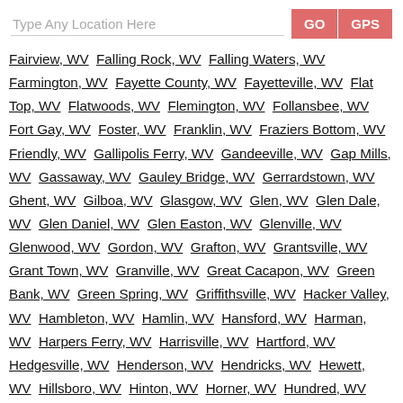Type Any Location Here  GO  GPS
Fairview, WV
Falling Rock, WV
Falling Waters, WV
Farmington, WV
Fayette County, WV
Fayetteville, WV
Flat Top, WV
Flatwoods, WV
Flemington, WV
Follansbee, WV
Fort Gay, WV
Foster, WV
Franklin, WV
Fraziers Bottom, WV
Friendly, WV
Gallipolis Ferry, WV
Gandeeville, WV
Gap Mills, WV
Gassaway, WV
Gauley Bridge, WV
Gerrardstown, WV
Ghent, WV
Gilboa, WV
Glasgow, WV
Glen, WV
Glen Dale, WV
Glen Daniel, WV
Glen Easton, WV
Glenville, WV
Glenwood, WV
Gordon, WV
Grafton, WV
Grantsville, WV
Grant Town, WV
Granville, WV
Great Cacapon, WV
Green Bank, WV
Green Spring, WV
Griffithsville, WV
Hacker Valley, WV
Hambleton, WV
Hamlin, WV
Hansford, WV
Harman, WV
Harpers Ferry, WV
Harrisville, WV
Hartford, WV
Hedgesville, WV
Henderson, WV
Hendricks, WV
Hewett, WV
Hillsboro, WV
Hinton, WV
Horner, WV
Hundred, WV
Huntington, WV
Hurricane, WV
Huttonsville, WV
Iaeger, WV
Indore, WV
Inwood, WV
Ireland, WV
Ivydale, WV